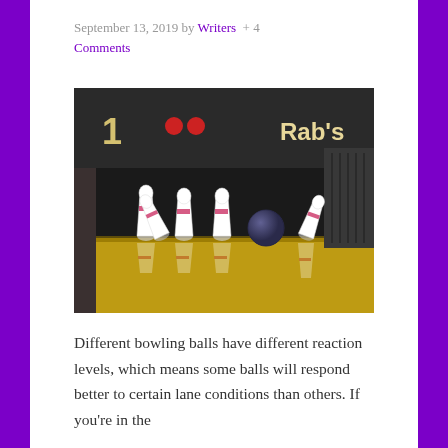September 13, 2019 by Writers  + 4 Comments
[Figure (photo): Bowling pins being knocked down by a bowling ball at the end of a bowling lane, with a scoreboard showing lane 1 and Rab's visible in the background.]
Different bowling balls have different reaction levels, which means some balls will respond better to certain lane conditions than others. If you’re in the